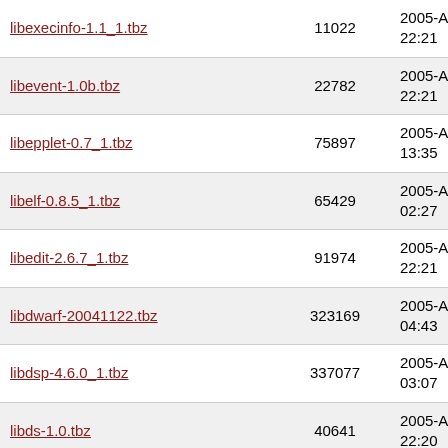| Name | Size | Date |
| --- | --- | --- |
| libexecinfo-1.1_1.tbz | 11022 | 2005-Apr-03 22:21 |
| libevent-1.0b.tbz | 22782 | 2005-Apr-03 22:21 |
| libepplet-0.7_1.tbz | 75897 | 2005-Apr-04 13:35 |
| libelf-0.8.5_1.tbz | 65429 | 2005-Apr-04 02:27 |
| libedit-2.6.7_1.tbz | 91974 | 2005-Apr-03 22:21 |
| libdwarf-20041122.tbz | 323169 | 2005-Apr-04 04:43 |
| libdsp-4.6.0_1.tbz | 337077 | 2005-Apr-04 03:07 |
| libds-1.0.tbz | 40641 | 2005-Apr-03 22:20 |
| libdict-0.2.0_1.tbz | 89938 | 2005-Apr-04 03:04 |
| libdbi-drivers-0.7.1_2.tbz | 129219 | 2005-Apr-04 06:38 |
| libdbi-0.7.2.tbz | 217033 | 2005-Apr- |